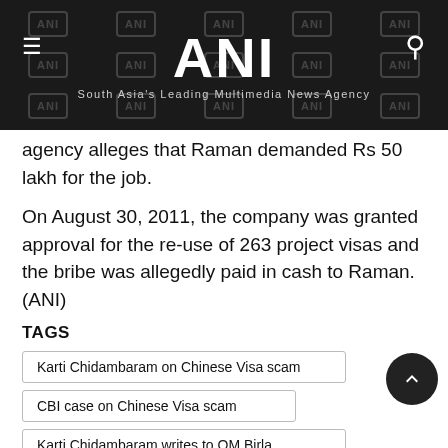ANI — South Asia's Leading Multimedia News Agency
agency alleges that Raman demanded Rs 50 lakh for the job.
On August 30, 2011, the company was granted approval for the re-use of 263 project visas and the bribe was allegedly paid in cash to Raman. (ANI)
TAGS
Karti Chidambaram on Chinese Visa scam
CBI case on Chinese Visa scam
Karti Chidambaram writes to OM Birla